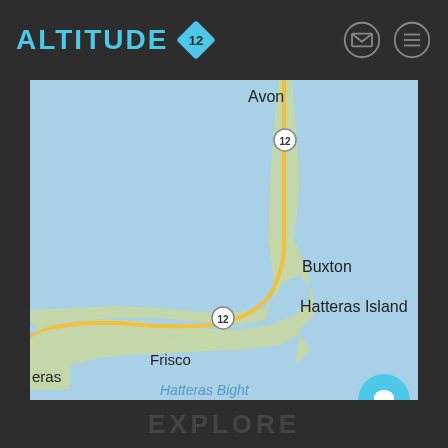[Figure (logo): Altitude 12 logo — cyan text 'ALTITUDE' with a cyan rotated diamond shape containing the number 12]
[Figure (screenshot): Google Maps screenshot showing Hatteras Island, NC with locations: Avon (top), Buxton (middle), Hatteras Island label, Frisco, Hatteras Bight, and partial label 'eras'. Route 12 road runs through the island. Map background is light blue (water) with green/tan land areas.]
EXPLORE